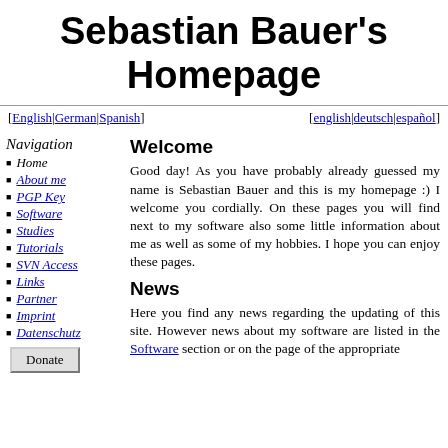Sebastian Bauer's Homepage
[English|German|Spanish]    [english|deutsch|español]
Navigation
Home
About me
PGP Key
Software
Studies
Tutorials
SVN Access
Links
Partner
Imprint
Datenschutz
Welcome
Good day! As you have probably already guessed my name is Sebastian Bauer and this is my homepage :) I welcome you cordially. On these pages you will find next to my software also some little information about me as well as some of my hobbies. I hope you can enjoy these pages.
News
Here you find any news regarding the updating of this site. However news about my software are listed in the Software section or on the page of the appropriate